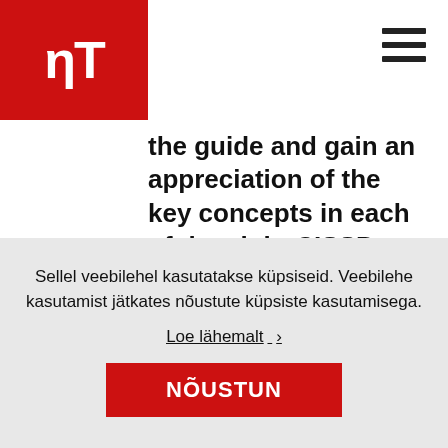IT (logo)
the guide and gain an appreciation of the key concepts in each of the eight CISSP domains in advance of the course. However, we do not expect delegates to be familiar with all the details of the guide book in advance of the course itself.
Sellel veebilehel kasutatakse küpsiseid. Veebilehe kasutamist jätkates nõustute küpsiste kasutamisega. Loe lähemalt › NÕUSTUN